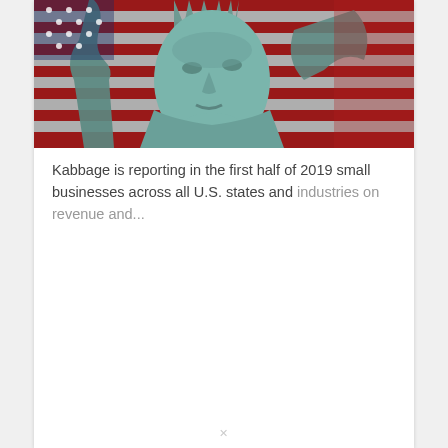[Figure (photo): Close-up photo of the Statue of Liberty face with an American flag in the background featuring red and white stripes.]
Kabbage is reporting in the first half of 2019 small businesses across all U.S. states and industries on revenue and...